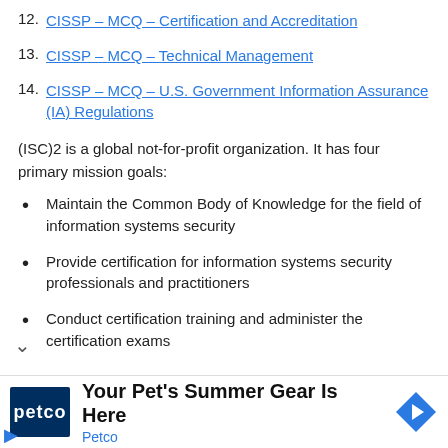12. CISSP – MCQ – Certification and Accreditation
13. CISSP – MCQ – Technical Management
14. CISSP – MCQ – U.S. Government Information Assurance (IA) Regulations
(ISC)2 is a global not-for-profit organization. It has four primary mission goals:
Maintain the Common Body of Knowledge for the field of information systems security
Provide certification for information systems security professionals and practitioners
Conduct certification training and administer the certification exams
[Figure (other): Advertisement banner: Petco – Your Pet's Summer Gear Is Here]